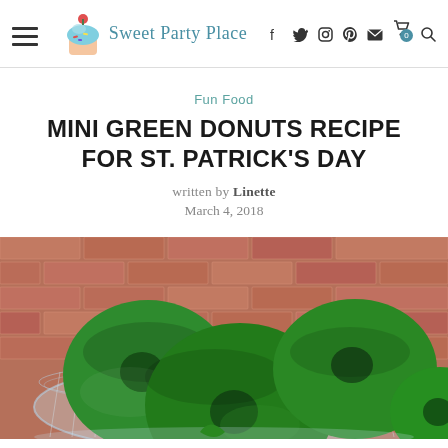Sweet Party Place — navigation bar with hamburger menu, logo, and social icons (Facebook, Twitter, Instagram, Pinterest, Email, Cart, Search)
Fun Food
MINI GREEN DONUTS RECIPE FOR ST. PATRICK'S DAY
written by Linette
March 4, 2018
[Figure (photo): Close-up photo of green mini donuts on a glass plate in front of a brick wall background]